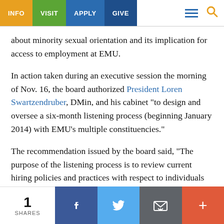INFO | VISIT | APPLY | GIVE
about minority sexual orientation and its implication for access to employment at EMU.
In action taken during an executive session the morning of Nov. 16, the board authorized President Loren Swartzendruber, DMin, and his cabinet “to design and oversee a six-month listening process (beginning January 2014) with EMU’s multiple constituencies.”
The recommendation issued by the board said, “The purpose of the listening process is to review current hiring policies and practices with respect to individuals in same-sex relationships.”
“As a Christian university it is our responsibility to engage in community discussion and discernment over issues that
1 SHARES | Facebook | Twitter | Email | +